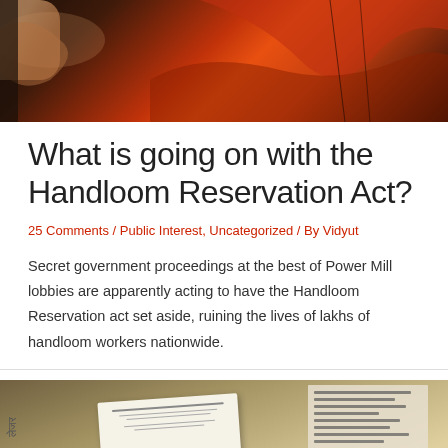[Figure (photo): Close-up photo of hands with a bracelet weaving or handling red fabric/threads on a loom, dark background with vibrant orange-red colors]
What is going on with the Handloom Reservation Act?
25 Comments / Public Interest, Uncategorized / By Vidyut
Secret government proceedings at the best of Power Mill lobbies are apparently acting to have the Handloom Reservation act set aside, ruining the lives of lakhs of handloom workers nationwide.
[Figure (photo): Photo of government documents including what appears to be an official letter with text and a newspaper, laid on a surface]